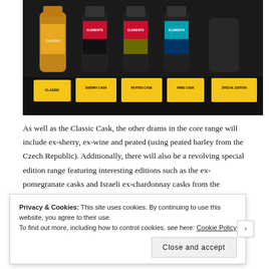[Figure (photo): Whisky bottles on display shelf with yellow label cards reading CLASSIC, SHERRY CASK, PEATED CASK, WINE CASK, SPECIAL EDITION against a dark background]
As well as the Classic Cask, the other drams in the core range will include ex-sherry, ex-wine and peated (using peated barley from the Czech Republic). Additionally, there will also be a revolving special edition range featuring interesting editions such as the ex-pomegranate casks and Israeli ex-chardonnay casks from the Jerusalem mountains.
[Figure (photo): Partial view of a colourful map or brochure with teal/turquoise and triangular design elements, text partially visible]
Privacy & Cookies: This site uses cookies. By continuing to use this website, you agree to their use.
To find out more, including how to control cookies, see here: Cookie Policy
Close and accept